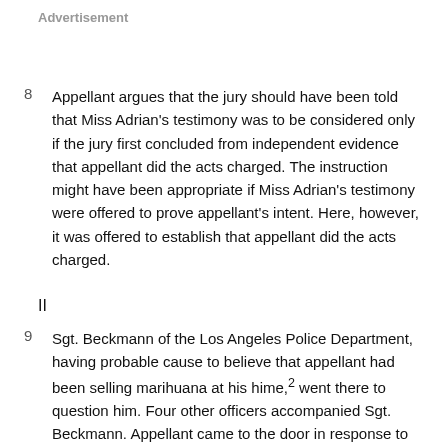Advertisement
8  Appellant argues that the jury should have been told that Miss Adrian's testimony was to be considered only if the jury first concluded from independent evidence that appellant did the acts charged. The instruction might have been appropriate if Miss Adrian's testimony were offered to prove appellant's intent. Here, however, it was offered to establish that appellant did the acts charged.
II
9  Sgt. Beckmann of the Los Angeles Police Department, having probable cause to believe that appellant had been selling marihuana at his hime,2 went there to question him. Four other officers accompanied Sgt. Beckmann. Appellant came to the door in response to an officer's knock. The officers identified themselves. One of several persons sitting in appellant's front room seized an object from the table and ran toward a bedroom. Sgt. Beckmann